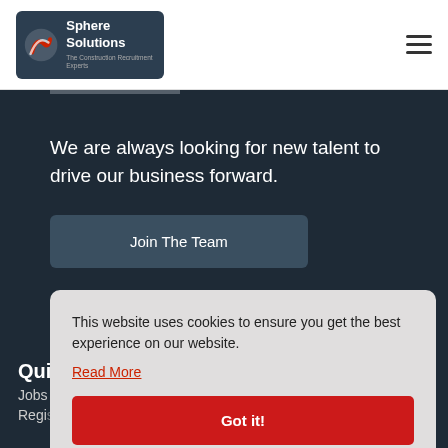Sphere Solutions - The Construction Recruitment Experts
We are always looking for new talent to drive our business forward.
Join The Team
This website uses cookies to ensure you get the best experience on our website.
Read More
Got it!
Quick
Jobs
Register